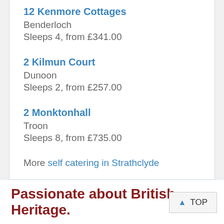12 Kenmore Cottages
Benderloch
Sleeps 4, from £341.00
2 Kilmun Court
Dunoon
Sleeps 2, from £257.00
2 Monktonhall
Troon
Sleeps 8, from £735.00
More self catering in Strathclyde
Passionate about British Heritage.